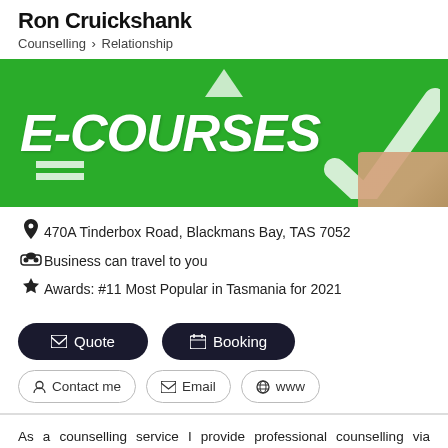Ron Cruickshank
Counselling > Relationship
[Figure (photo): Green background with large italic bold white text 'E-COURSES', a white arrow/checkmark icon on the right, and a hand holding something in bottom-right corner.]
470A Tinderbox Road, Blackmans Bay, TAS 7052
Business can travel to you
Awards: #11 Most Popular in Tasmania for 2021
✉ Quote
📅 Booking
👤 Contact me
✉ Email
🌐 www
As a counselling service I provide professional counselling via attendance at my rooms in Blackmans Bay, Tasmania, home visits to Hobart Suburbs, Skype Video Conferencing, and Telephone for...